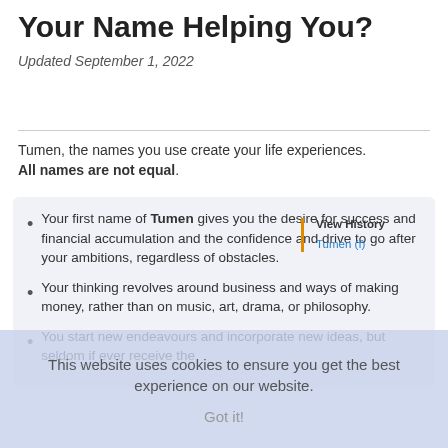Your Name Helping You?
Updated September 1, 2022
Tumen, the names you use create your life experiences. All names are not equal.
Your first name of Tumen gives you the desire for success and financial accumulation and the confidence and drive to go after your ambitions, regardless of obstacles.
Your thinking revolves around business and ways of making money, rather than on music, art, drama, or philosophy.
You start new endeavours and incorporate new ideas, but seldom if ever receive the
This website uses cookies to ensure you get the best experience on our website.
Got it!